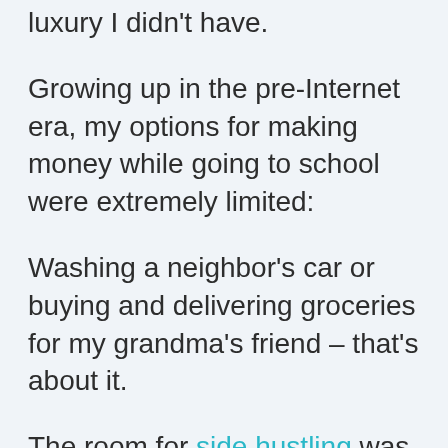luxury I didn't have.
Growing up in the pre-Internet era, my options for making money while going to school were extremely limited:
Washing a neighbor's car or buying and delivering groceries for my grandma's friend – that's about it.
The room for side hustling was tiny (to say at least) – and the pay was hilarious compared to what a student can earn online in 2021.